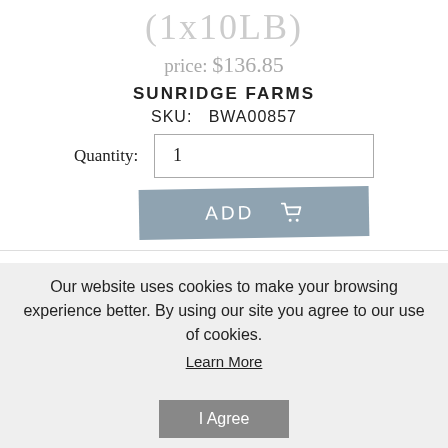(1x10LB)
price: $136.85
SUNRIDGE FARMS
SKU:  BWA00857
Quantity: 1
[Figure (screenshot): ADD to cart button with shopping cart icon, blue-grey color, slightly rotated]
Packed with protein, fiber, and antioxidants Vitamin A, Vitamin C, Vitamin E, lycopene, and beta carotene, Berries and Chocolate Antioxidant Mix is 100 percent vegetarian. All natural, without artificial flavorings and preservatives, the mix includes a hand-selected blend of sun-ripened blueberries, dark chocolate stars, freshly roasted almonds
Our website uses cookies to make your browsing experience better. By using our site you agree to our use of cookies.
Learn More
I Agree